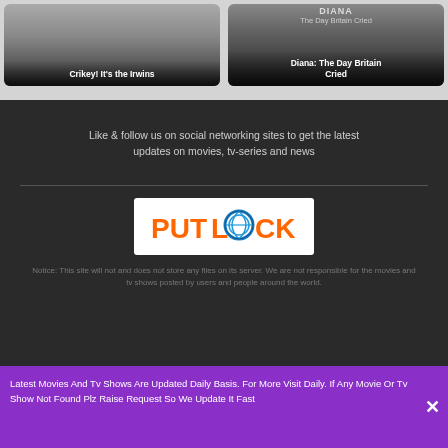[Figure (illustration): Movie card for 'Crikey! It's the Irwins' with gray gradient background and white bold title text overlay at bottom]
[Figure (illustration): Movie card for 'Diana: The Day Britain Cried' with dark gradient background, partial 'DIANA The Day Britain Cried' text at top, and white bold title overlay at bottom]
Like & follow us on social networking sites to get the latest updates on movies, tv-series and news
[Figure (logo): Putlocker logo: orange bold text 'PUT' followed by spinning blue/teal 'O' icon then orange 'CKER', on white background]
Notice: This site will not and does not store any files on its server. We are not responsible for the movies and tv shows posted by users and people around the world.
Latest Movies And Tv Shows Are Updated Daily Basis. For More Visit Daily. If Any Movie Or Tv Show Not Found Plz Raise Request So We Update It Fast